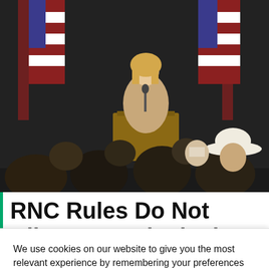[Figure (photo): A woman with blonde hair speaking at a wooden podium, with American flags in the background. An audience is visible from behind in the foreground. A man wearing a white cowboy hat is visible on the right.]
RNC Rules Do Not Allow It To Block Liz Cheney From Running As A
We use cookies on our website to give you the most relevant experience by remembering your preferences and repeat visits. By clicking “Accept”, you consent to the use of ALL the cookies.
Do not sell my personal information.